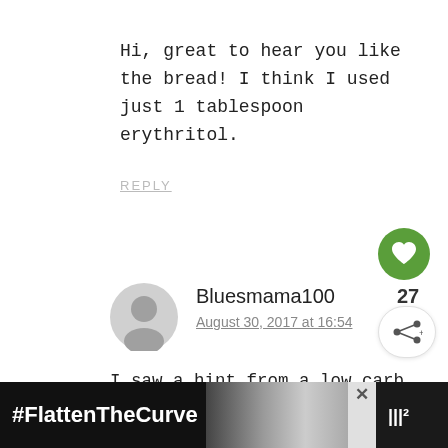Hi, great to hear you like the bread! I think I used just 1 tablespoon erythritol.
REPLY
Bluesmama100
August 30, 2017 at 16:54
I saw a hint from a low carb chef to add half a packet of yeast just for the flavor. It doesn't
#FlattenTheCurve